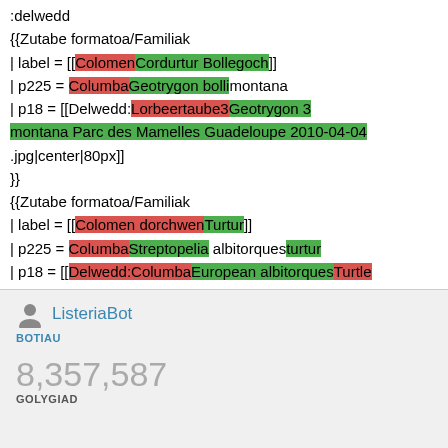:delwedd
{{Zutabe formatoa/Familiak
| label = [[ColomenCordurtur Bollegoch]]
| p225 = ColumbaGeotrygon bolliimontana
| p18 = [[Delwedd:Lorbeertaube3Geotrygon 3 montana Parc des Mamelles Guadeloupe 2010-04-04 .jpg|center|80px]]
}}
{{Zutabe formatoa/Familiak
| label = [[Colomen dorchwenTurtur]]
| p225 = ColumbaStreptopelia albitorquesturtur
| p18 = [[Delwedd:ColumbaEuropean albitorquesTurtle
ListeriaBot
BOTIAU
8,357,587
GOLYGIAD